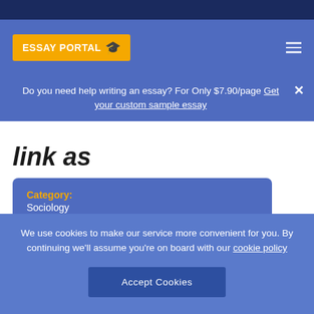ESSAY PORTAL
Do you need help writing an essay? For Only $7.90/page Get your custom sample essay
link as
Category: Sociology
Topic: Native American
Words: 343
We use cookies to make our service more convenient for you. By continuing we'll assume you're on board with our cookie policy
Accept Cookies